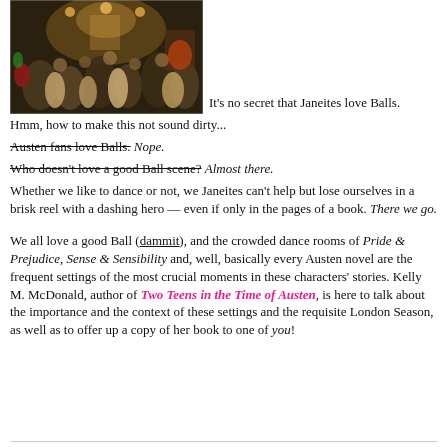[Figure (photo): A crowded Regency-era ballroom scene with people in period costume, candlelight, and formal dance setting.]
It's no secret that Janeites love Balls.
Hmm, how to make this not sound dirty...
Austen fans love Balls. Nope.
Who doesn't love a good Ball scene? Almost there.
Whether we like to dance or not, we Janeites can't help but lose ourselves in a brisk reel with a dashing hero — even if only in the pages of a book. There we go.
We all love a good Ball (dammit), and the crowded dance rooms of Pride & Prejudice, Sense & Sensibility and, well, basically every Austen novel are the frequent settings of the most crucial moments in these characters' stories. Kelly M. McDonald, author of Two Teens in the Time of Austen, is here to talk about the importance and the context of these settings and the requisite London Season, as well as to offer up a copy of her book to one of you!